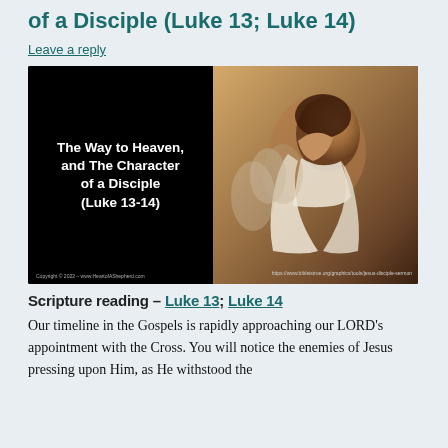of a Disciple (Luke 13; Luke 14)
Leave a reply
[Figure (photo): Slide image with black background. Left side shows white bold text: 'The Way to Heaven, and The Character of a Disciple (Luke 13-14)'. Right side shows a photo of a man with dark curly hair wearing a white cloth/garment, with blurred figures in background. Copyright 2022 www.HeartofAShepherd.com]
Scripture reading – Luke 13; Luke 14
Our timeline in the Gospels is rapidly approaching our LORD's appointment with the Cross. You will notice the enemies of Jesus pressing upon Him, as He withstood the